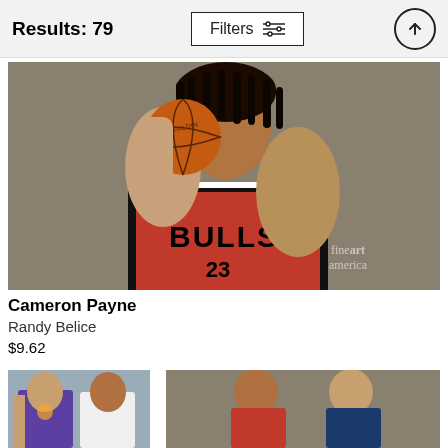Results: 79
Filters
[Figure (photo): Basketball player Cameron Payne in a Chicago Bulls red jersey holding a Spalding basketball on his shoulder, posed against a gray background. Fine Art America watermark visible.]
Cameron Payne
Randy Belice
$9.62
[Figure (photo): Partial view of two people, one in a purple Phoenix Suns jersey and another in a white jersey.]
[Figure (photo): Partial view of two people in basketball jerseys against a gray background.]